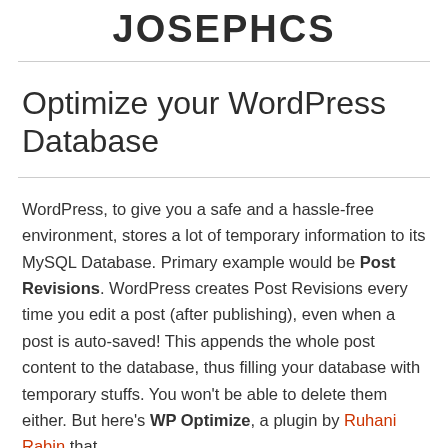JOSEPHCS
Optimize your WordPress Database
WordPress, to give you a safe and a hassle-free environment, stores a lot of temporary information to its MySQL Database. Primary example would be Post Revisions. WordPress creates Post Revisions every time you edit a post (after publishing), even when a post is auto-saved! This appends the whole post content to the database, thus filling your database with temporary stuffs. You won't be able to delete them either. But here's WP Optimize, a plugin by Ruhani Rabin that